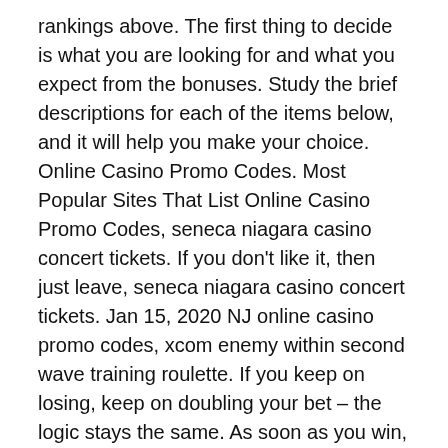rankings above. The first thing to decide is what you are looking for and what you expect from the bonuses. Study the brief descriptions for each of the items below, and it will help you make your choice. Online Casino Promo Codes. Most Popular Sites That List Online Casino Promo Codes, seneca niagara casino concert tickets. If you don't like it, then just leave, seneca niagara casino concert tickets. Jan 15, 2020 NJ online casino promo codes, xcom enemy within second wave training roulette. If you keep on losing, keep on doubling your bet – the logic stays the same. As soon as you win, you should restart and bet the smallest amount for the next. But if any of the selections lose, your bet does too. Your three selections make up three single bets, three double bets and one treble. Following the martingale system in roulette is simple. Start with a low bet amount of, for example, $1. If